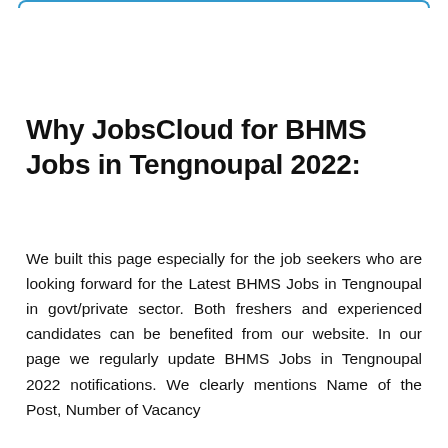Why JobsCloud for BHMS Jobs in Tengnoupal 2022:
We built this page especially for the job seekers who are looking forward for the Latest BHMS Jobs in Tengnoupal in govt/private sector. Both freshers and experienced candidates can be benefited from our website. In our page we regularly update BHMS Jobs in Tengnoupal 2022 notifications. We clearly mentions Name of the Post, Number of Vacancy